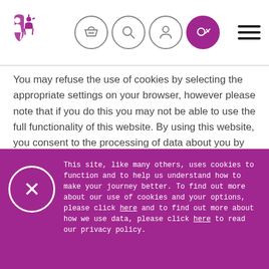Website header with logo and navigation icons
You may refuse the use of cookies by selecting the appropriate settings on your browser, however please note that if you do this you may not be able to use the full functionality of this website. By using this website, you consent to the processing of data about you by Google in the manner and for the purposes set out above.
Terms and Conditions
This site, like many others, uses cookies to function and to help us understand how to make your journey better. To find out more about our use of cookies and your options, please click here and to find out more about how we use data, please click here to read our privacy policy.